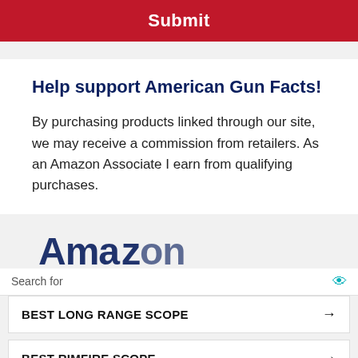Submit
Help support American Gun Facts!
By purchasing products linked through our site, we may receive a commission from retailers. As an Amazon Associate I earn from qualifying purchases.
[Figure (screenshot): Partial Amazon logo visible in background of ad unit]
Search for
BEST LONG RANGE SCOPE →
BEST RIMFIRE SCOPE →
Ad | Business Focus